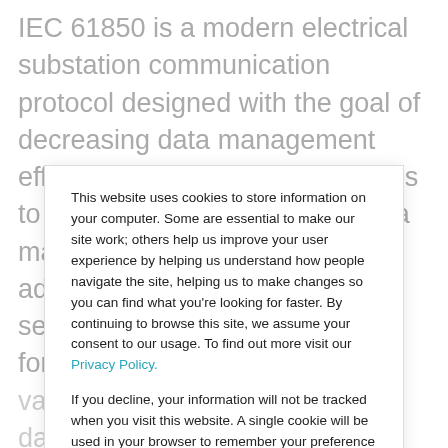IEC 61850 is a modern electrical substation communication protocol designed with the goal of decreasing data management effort. It uses symbolic addresses to reduce the time-intensive data mapping of numerically-addressed protocols, supports several self-description services for online data configuration and validation and aggregate data in addition to and
This website uses cookies to store information on your computer. Some are essential to make our site work; others help us improve your user experience by helping us understand how people navigate the site, helping us to make changes so you can find what you're looking for faster. By continuing to browse this site, we assume your consent to our usage. To find out more visit our Privacy Policy.

If you decline, your information will not be tracked when you visit this website. A single cookie will be used in your browser to remember your preference not to be tracked.